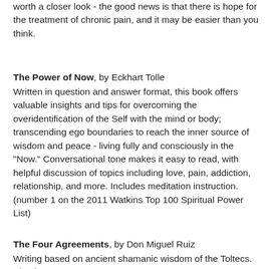worth a closer look - the good news is that there is hope for the treatment of chronic pain, and it may be easier than you think.
The Power of Now, by Eckhart Tolle
Written in question and answer format, this book offers valuable insights and tips for overcoming the overidentification of the Self with the mind or body; transcending ego boundaries to reach the inner source of wisdom and peace - living fully and consciously in the "Now." Conversational tone makes it easy to read, with helpful discussion of topics including love, pain, addiction, relationship, and more. Includes meditation instruction.
(number 1 on the 2011 Watkins Top 100 Spiritual Power List)
The Four Agreements, by Don Miguel Ruiz
Writing based on ancient shamanic wisdom of the Toltecs. Simple